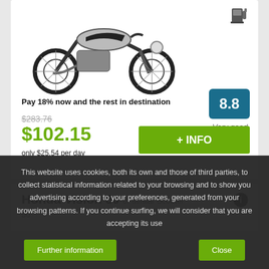[Figure (photo): Motorcycle (retro style) photo in white background, shown from the side]
[Figure (illustration): Fuel pump icon in top right of card]
8.8
Very good.
Pay 18% now and the rest in destination
$283.76
$102.15
only $25.54 per day
+ INFO
Honda Vision 50 or similar Scooter
This website uses cookies, both its own and those of third parties, to collect statistical information related to your browsing and to show you advertising according to your preferences, generated from your browsing patterns. If you continue surfing, we will consider that you are accepting its use
Further information
Close